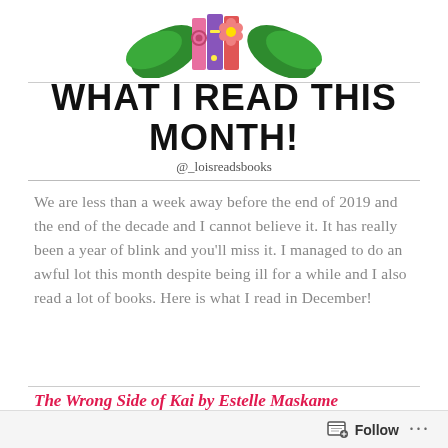[Figure (illustration): Decorative illustration of colorful books with flowers and leaves at the top of the page]
WHAT I READ THIS MONTH!
@_loisreadsbooks
We are less than a week away before the end of 2019 and the end of the decade and I cannot believe it. It has really been a year of blink and you'll miss it. I managed to do an awful lot this month despite being ill for a while and I also read a lot of books. Here is what I read in December!
The Wrong Side of Kai by Estelle Maskame